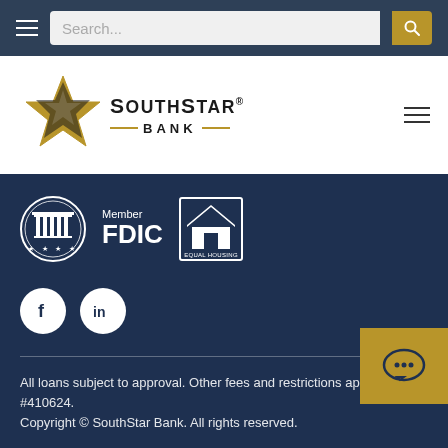Navigation bar with hamburger menu and search
[Figure (logo): SouthStar Bank logo with Texas state star icon and gold horizontal lines]
[Figure (logo): Member FDIC badge and Equal Housing Lender logo]
[Figure (logo): Facebook and LinkedIn social media icons]
All loans subject to approval. Other fees and restrictions apply. NMLS #410624. Copyright © SouthStar Bank. All rights reserved.